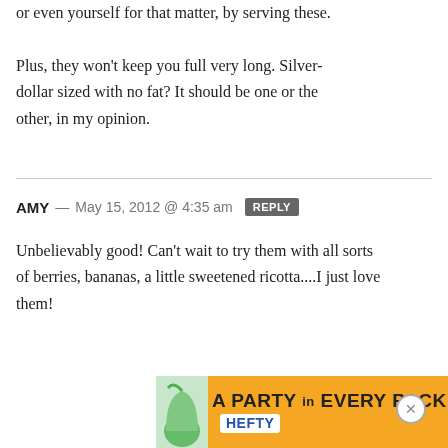or even yourself for that matter, by serving these. Plus, they won't keep you full very long. Silver-dollar sized with no fat? It should be one or the other, in my opinion.
AMY — May 15, 2012 @ 4:35 am  REPLY
Unbelievably good! Can't wait to try them with all sorts of berries, bananas, a little sweetened ricotta....I just love them!
[Figure (infographic): Orange advertisement banner for Hefty with text 'A PARTY in EVERY PACK' and Hefty logo, with a green bag icon on the left.]